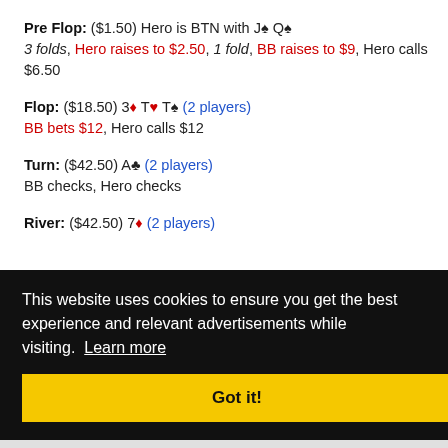Pre Flop: ($1.50) Hero is BTN with J♠ Q♠
3 folds, Hero raises to $2.50, 1 fold, BB raises to $9, Hero calls $6.50
Flop: ($18.50) 3♦ T♥ T♠ (2 players)
BB bets $12, Hero calls $12
Turn: ($42.50) A♣ (2 players)
BB checks, Hero checks
River: ($42.50) 7♦ (2 players)
This website uses cookies to ensure you get the best experience and relevant advertisements while visiting. Learn more
Got it!
<< < Page 122 of 350 ▼ > >>